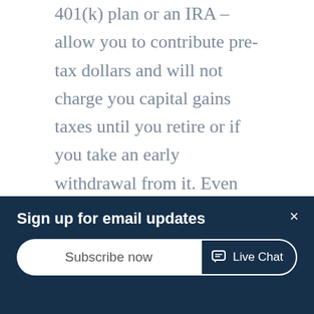401(k) plan or an IRA – allow you to contribute pre-tax dollars and will not charge you capital gains taxes until you retire or if you take an early withdrawal from it. Even saving just $100 pre-tax dollars per paycheck can add up over the years, so start saving early.
Always Know How Much Your Business is Worth
If you plan to sell your business to fund at least part of your retirement, you should always have a rough idea of what your business is worth.
[Figure (screenshot): Email sign-up banner overlay with dark navy background showing 'Sign up for email updates' title, a 'Subscribe now' input/button, a close (×) button, and a 'Live Chat' button.]